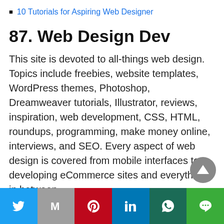10 Tutorials for Aspiring Web Designer
87. Web Design Dev
This site is devoted to all-things web design. Topics include freebies, website templates, WordPress themes, Photoshop, Dreamweaver tutorials, Illustrator, reviews, inspiration, web development, CSS, HTML, roundups, programming, make money online, interviews, and SEO. Every aspect of web design is covered from mobile interfaces to developing eCommerce sites and everything in between.
Social share icons: Twitter, Gmail, Pinterest, LinkedIn, WhatsApp, Line